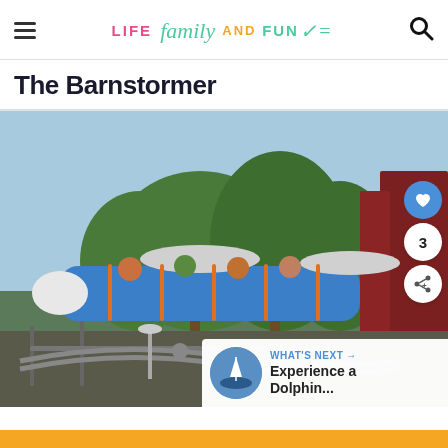Life Family and Fun — navigation header with hamburger menu and search icon
The Barnstormer
[Figure (photo): Photo of The Barnstormer roller coaster at Walt Disney World. Blue airplane-themed coaster cars with riders are visible on the track against a blue sky with pine trees in the background. Social share buttons (heart, count of 3, share icon) visible on the right. A 'What's Next' callout in the bottom-right corner shows a thumbnail of a sailboat and the text 'Experience a Dolphin...']
WHAT'S NEXT → Experience a Dolphin...